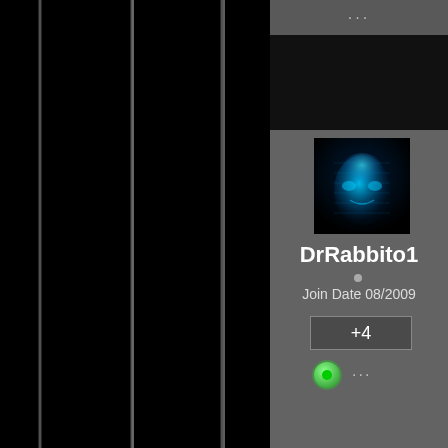[Figure (screenshot): Dark vertical panel with light gray stripes on black background, left side of a forum/community website interface]
[Figure (photo): Avatar image of DrRabbito1 - a digital/cyberpunk face mask in cyan/teal tones against dark background]
DrRabbito1
Join Date 08/2009
+4
Reply
4 ele
1) Du
-Sco also
2) Ha
-hea ener
3) Pr